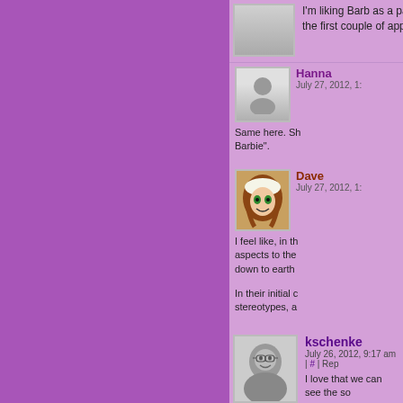I'm liking Barb as a parent. She's changed so much from the first couple of appearanc...
Hanna
July 27, 2012, 1:...
Same here. Sh... Barbie".
Dave
July 27, 2012, 1:...
I feel like, in th... aspects to the... down to earth...
In their initial c... stereotypes, a...
kschenke
July 26, 2012, 9:17 am | # | Rep...
I love that we can see the so...
Dondy
July 26, 2012, 10:45 am | # | Re...
I like the way that Barb not c...